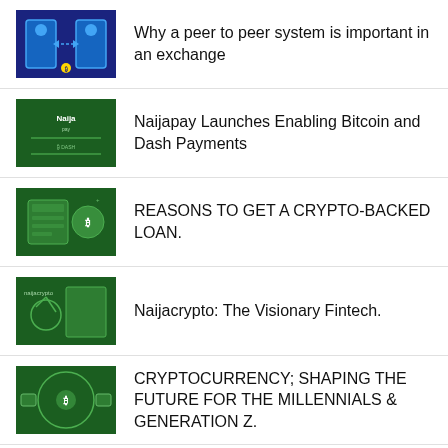Why a peer to peer system is important in an exchange
Naijapay Launches Enabling Bitcoin and Dash Payments
REASONS TO GET A CRYPTO-BACKED LOAN.
Naijacrypto: The Visionary Fintech.
CRYPTOCURRENCY; SHAPING THE FUTURE FOR THE MILLENNIALS & GENERATION Z.
5 THINGS TO CONSIDER BEFORE TRADING CRYPTO
Other uses of Blockchain other than Cryptocurrency